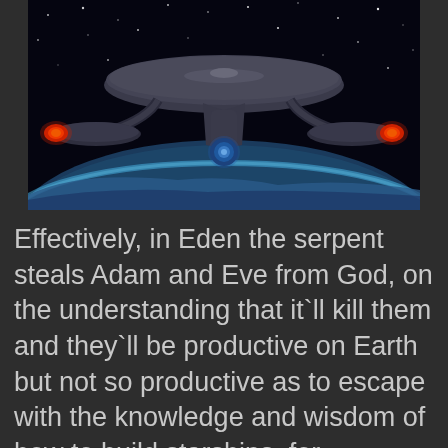[Figure (photo): A Star Trek starship (USS Enterprise) viewed from below, with two glowing red engine nacelles and a central blue-white deflector dish, floating in space above Earth's curved horizon with a starfield background.]
Effectively, in Eden the serpent steals Adam and Eve from God, on the understanding that it`ll kill them and they`ll be productive on Earth but not so productive as to escape with the knowledge and wisdom of how to build starships, for example. In even